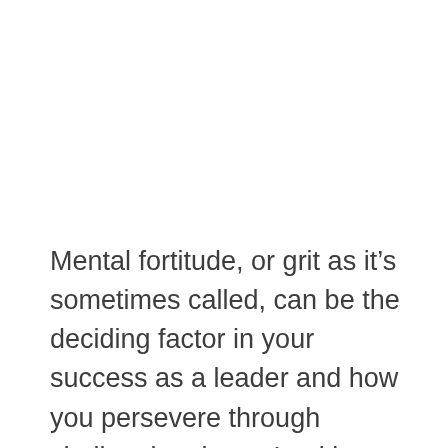Mental fortitude, or grit as it’s sometimes called, can be the deciding factor in your success as a leader and how you persevere through challenging times. Looking back at my time in the military, basic training was really about testing and strengthening a soldier’s mental fortitude. You are pushed to the edge